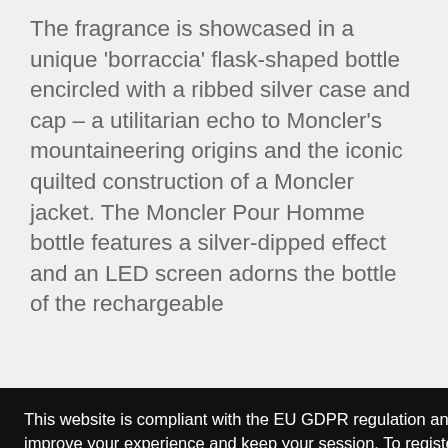The fragrance is showcased in a unique 'borraccia' flask-shaped bottle encircled with a ribbed silver case and cap – a utilitarian echo to Moncler's mountaineering origins and the iconic quilted construction of a Moncler jacket. The Moncler Pour Homme bottle features a silver-dipped effect and an LED screen adorns the bottle of the rechargeable [panel] [phone] [e a] [ers] [ated by] [rasting]
This website is compliant with the EU GDPR regulation and uses technical and functional cookies in order to improve your experience and keep your session. To register an account, contact us, get our products or services you must accept our Privacy Policy. By clicking on the 'Accept' button or clicking on any link included on this page you consent the usage of cookies and accept our Cookies Policy. Cookie policy   Privacy policy
[ce was] [njuring up] [untain air.] The brand has grown to become one of the biggest and